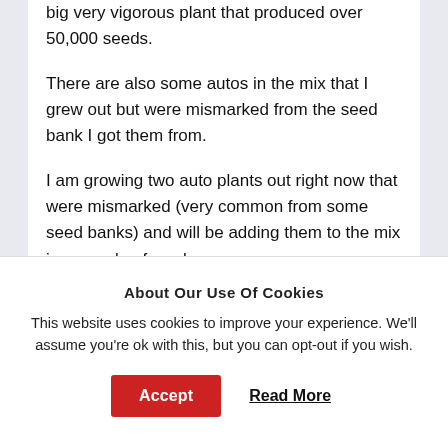big very vigorous plant that produced over 50,000 seeds.
There are also some autos in the mix that I grew out but were mismarked from the seed bank I got them from.
I am growing two auto plants out right now that were mismarked (very common from some seed banks) and will be adding them to the mix in a couple of weeks.
You will find over 50 seeds in each free seed order, I think I can safely say this is the cheapest and most seeds you will find anywhere online.
About Our Use Of Cookies
This website uses cookies to improve your experience. We'll assume you're ok with this, but you can opt-out if you wish.